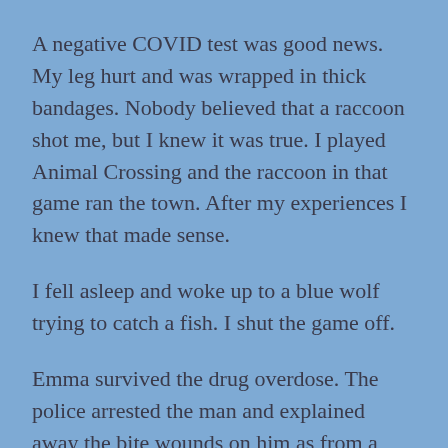A negative COVID test was good news. My leg hurt and was wrapped in thick bandages. Nobody believed that a raccoon shot me, but I knew it was true. I played Animal Crossing and the raccoon in that game ran the town. After my experiences I knew that made sense.
I fell asleep and woke up to a blue wolf trying to catch a fish. I shut the game off.
Emma survived the drug overdose. The police arrested the man and explained away the bite wounds on him as from a stray dog despite what we both said about the raccoons.